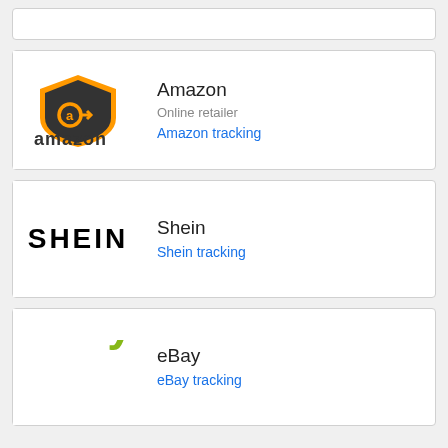[Figure (other): Partial top card (cropped from above)]
[Figure (logo): Amazon logo with shield icon and amazon wordmark]
Amazon
Online retailer
Amazon tracking
[Figure (logo): SHEIN logo in bold black letters]
Shein
Shein tracking
[Figure (logo): eBay logo in multicolor letters: e red, b blue, a yellow, y green]
eBay
eBay tracking